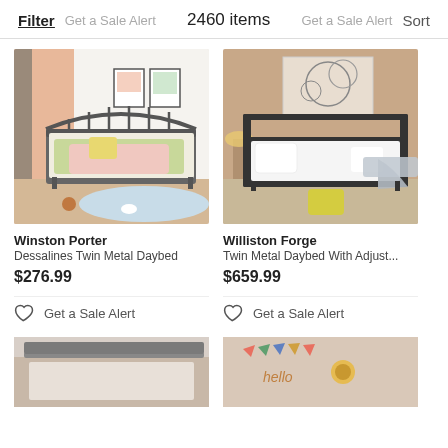Filter  Get a Sale Alert  2460 items  Get a Sale Alert  Sort
[Figure (photo): Winston Porter Dessalines Twin Metal Daybed in a room with colorful bedding]
Winston Porter
Dessalines Twin Metal Daybed
$276.99
Get a Sale Alert
[Figure (photo): Williston Forge Twin Metal Daybed With Adjustable back in a room with white and grey bedding and yellow pillow]
Williston Forge
Twin Metal Daybed With Adjust...
$659.99
Get a Sale Alert
[Figure (photo): Partial view of a bed frame at the bottom left]
[Figure (photo): Partial view of a bedroom with hello sign at the bottom right]